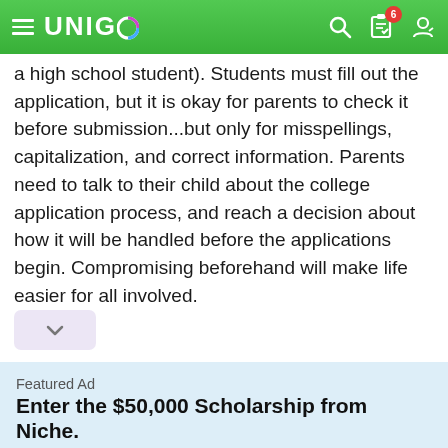UNIGO
a high school student). Students must fill out the application, but it is okay for parents to check it before submission...but only for misspellings, capitalization, and correct information. Parents need to talk to their child about the college application process, and reach a decision about how it will be handled before the applications begin. Compromising beforehand will make life easier for all involved.
[Figure (other): Collapse/expand chevron button (down arrow) on a light purple background]
Featured Ad
Enter the $50,000 Scholarship from Niche.
Last day to enter is August 31st
[Figure (other): APPLY NOW! button in cyan/blue color]